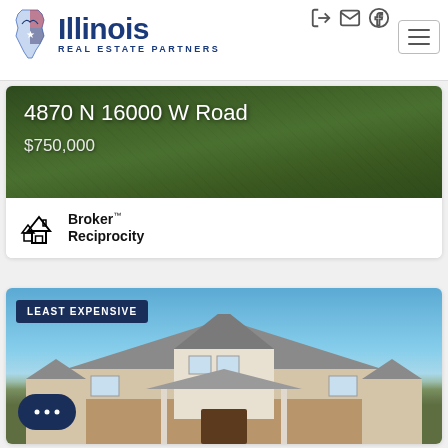[Figure (logo): Illinois Real Estate Partners logo with map of Illinois and company name]
4870 N 16000 W Road
$750,000
[Figure (logo): Broker Reciprocity logo with house icon]
[Figure (photo): House photo with LEAST EXPENSIVE badge overlay and chat bubble button at bottom left]